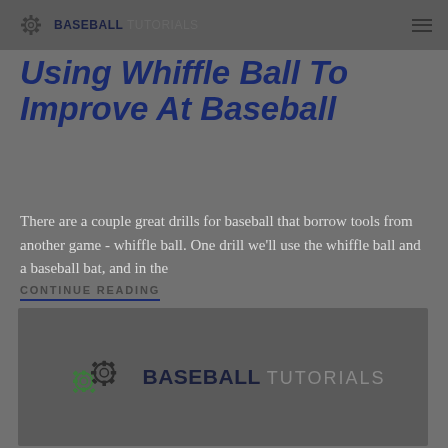BASEBALL TUTORIALS
Using Whiffle Ball To Improve At Baseball
There are a couple great drills for baseball that borrow tools from another game - whiffle ball. One drill we'll use the whiffle ball and a baseball bat, and in the
CONTINUE READING
[Figure (logo): Baseball Tutorials logo with gear icons on a dark grey background]